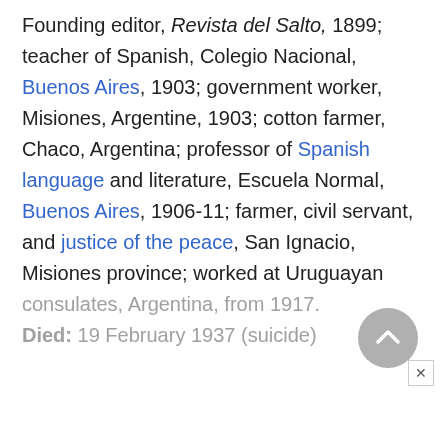Founding editor, Revista del Salto, 1899; teacher of Spanish, Colegio Nacional, Buenos Aires, 1903; government worker, Misiones, Argentine, 1903; cotton farmer, Chaco, Argentina; professor of Spanish language and literature, Escuela Normal, Buenos Aires, 1906-11; farmer, civil servant, and justice of the peace, San Ignacio, Misiones province; worked at Uruguayan consulates, Argentina, from 1917. Died: 19 February 1937 (suicide)